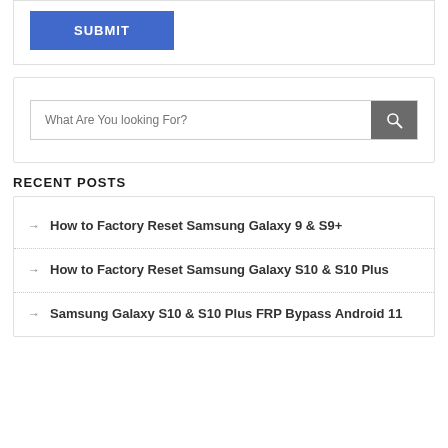[Figure (screenshot): A blue SUBMIT button]
[Figure (screenshot): A search bar with placeholder text 'What Are You looking For?' and a grey search icon button]
RECENT POSTS
How to Factory Reset Samsung Galaxy 9 & S9+
How to Factory Reset Samsung Galaxy S10 & S10 Plus
Samsung Galaxy S10 & S10 Plus FRP Bypass Android 11